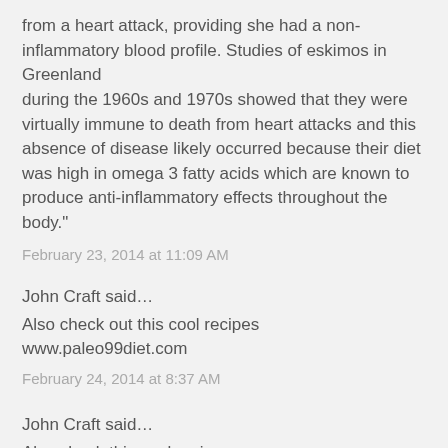from a heart attack, providing she had a non-inflammatory blood profile. Studies of eskimos in Greenland during the 1960s and 1970s showed that they were virtually immune to death from heart attacks and this absence of disease likely occurred because their diet was high in omega 3 fatty acids which are known to produce anti-inflammatory effects throughout the body."
February 23, 2014 at 11:09 AM
John Craft said…
Also check out this cool recipes
www.paleo99diet.com
February 24, 2014 at 8:37 AM
John Craft said…
Also check this cool recipes
www.paleo99diet.com